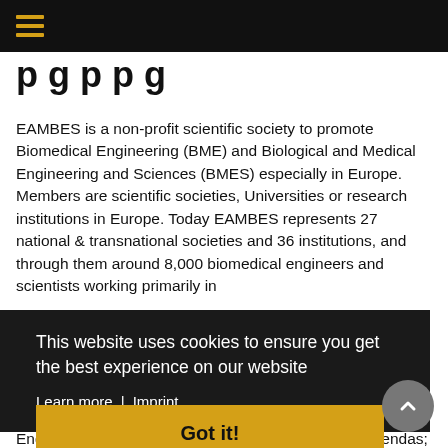[partial page title — cropped]
EAMBES is a non-profit scientific society to promote Biomedical Engineering (BME) and Biological and Medical Engineering and Sciences (BMES) especially in Europe. Members are scientific societies, Universities or research institutions in Europe. Today EAMBES represents 27 national & transnational societies and 36 institutions, and through them around 8,000 biomedical engineers and scientists working primarily in
…eering BME and … individual f BME …d;
This website uses cookies to ensure you get the best experience on our website
Learn more | Imprint
Got it!
Engineering (BME), on issues research and policy agendas; (5) Develop a dialogue between EAMBES & key policy makers in